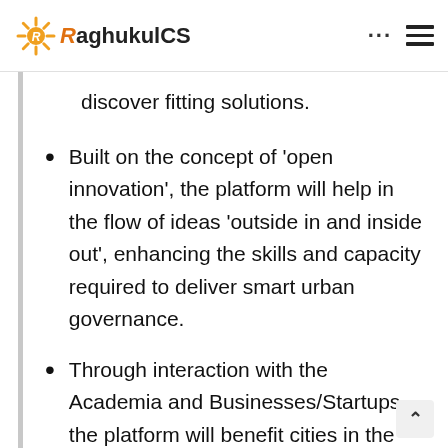RaghukulCS
discover fitting solutions.
Built on the concept of ‘open innovation’, the platform will help in the flow of ideas ‘outside in and inside out’, enhancing the skills and capacity required to deliver smart urban governance.
Through interaction with the Academia and Businesses/Startups, the platform will benefit cities in the